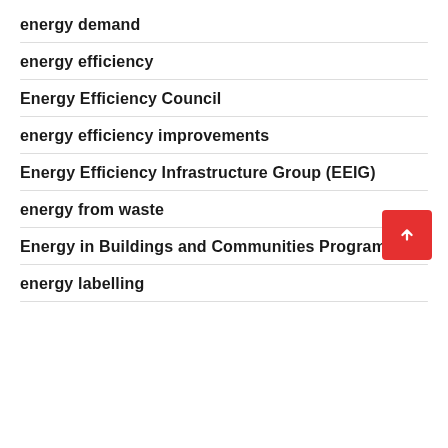energy demand
energy efficiency
Energy Efficiency Council
energy efficiency improvements
Energy Efficiency Infrastructure Group (EEIG)
energy from waste
Energy in Buildings and Communities Programme
energy labelling